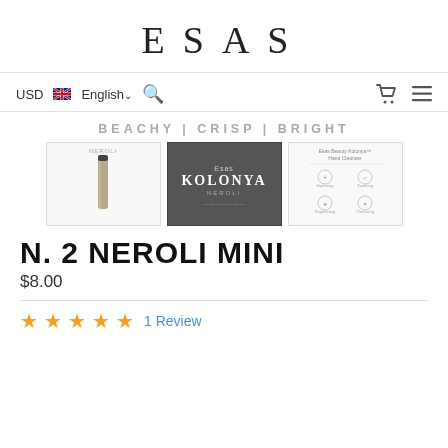ESAS
USD  English  [search] [cart] [menu]
BEACHY | CRISP | BRIGHT
[Figure (photo): Three product images: Neroli mini perfume stick, Kolonya dark textured box, Esas Beauty Kolonya Hand Cleanser info card]
N. 2 NEROLI MINI
$8.00
★★★★★ 1 Review